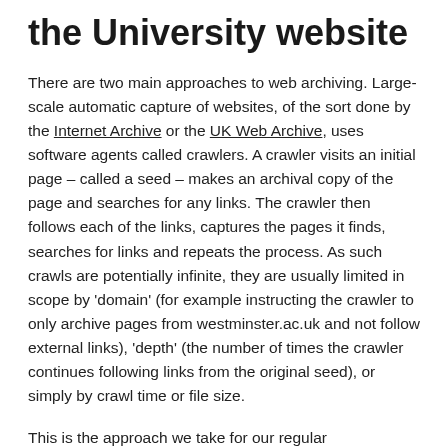the University website
There are two main approaches to web archiving. Large-scale automatic capture of websites, of the sort done by the Internet Archive or the UK Web Archive, uses software agents called crawlers. A crawler visits an initial page – called a seed – makes an archival copy of the page and searches for any links. The crawler then follows each of the links, captures the pages it finds, searches for links and repeats the process. As such crawls are potentially infinite, they are usually limited in scope by 'domain' (for example instructing the crawler to only archive pages from westminster.ac.uk and not follow external links), 'depth' (the number of times the crawler continues following links from the original seed), or simply by crawl time or file size.
This is the approach we take for our regular